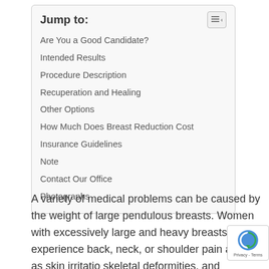Jump to:
Are You a Good Candidate?
Intended Results
Procedure Description
Recuperation and Healing
Other Options
How Much Does Breast Reduction Cost
Insurance Guidelines
Note
Contact Our Office
Photographs
A variety of medical problems can be caused by the weight of large pendulous breasts. Women with excessively large and heavy breasts may experience back, neck, or shoulder pain as well as skin irritation, skeletal deformities, and breathing problems. Bra straps can create deep shoulder grooves or indentations.